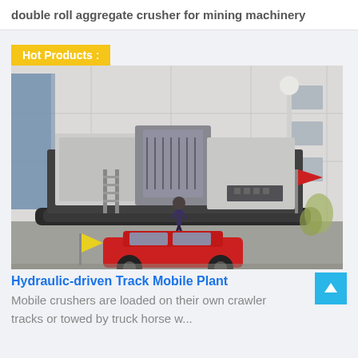double roll aggregate crusher for mining machinery
Hot Products :
[Figure (photo): A large hydraulic-driven track mobile crusher plant (white and dark gray industrial machine on crawler tracks) photographed in an outdoor industrial facility. A person stands in front for scale. A red car and yellow flag are visible in the foreground. A lamp post and building wall are in the background.]
Hydraulic-driven Track Mobile Plant
Mobile crushers are loaded on their own crawler tracks or towed by truck horse w...